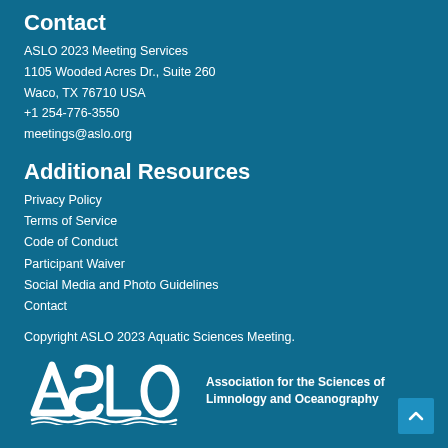Contact
ASLO 2023 Meeting Services
1105 Wooded Acres Dr., Suite 260
Waco, TX 76710 USA
+1 254-776-3550
meetings@aslo.org
Additional Resources
Privacy Policy
Terms of Service
Code of Conduct
Participant Waiver
Social Media and Photo Guidelines
Contact
Copyright ASLO 2023 Aquatic Sciences Meeting.
[Figure (logo): ASLO logo with text: Association for the Sciences of Limnology and Oceanography]